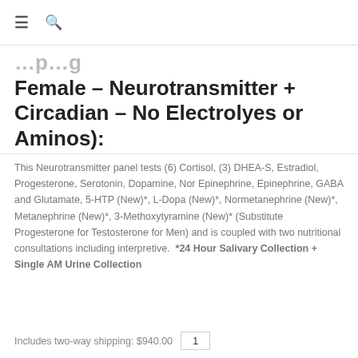≡  🔍
Female – Neurotransmitter + Circadian – No Electrolyes or Aminos):
This Neurotransmitter panel tests (6) Cortisol, (3) DHEA-S, Estradiol, Progesterone, Serotonin, Dopamine, Nor Epinephrine, Epinephrine, GABA and Glutamate, 5-HTP (New)*, L-Dopa (New)*, Normetanephrine (New)*, Metanephrine (New)*, 3-Methoxytyramine (New)* (Substitute Progesterone for Testosterone for Men) and is coupled with two nutritional consultations including interpretive. *24 Hour Salivary Collection + Single AM Urine Collection
Includes two-way shipping: $940.00    1